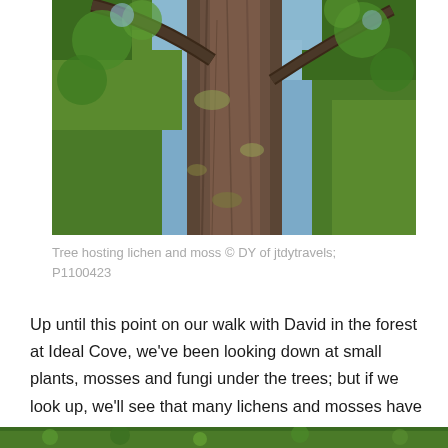[Figure (photo): Upward-looking photograph of a large tree trunk with rough bark, covered in lichen and moss, with green leafy branches and blue sky visible above.]
Tree hosting lichen and moss © DY of jtdytravels;
P1100423
Up until this point on our walk with David in the forest at Ideal Cove, we've been looking down at small plants, mosses and fungi under the trees; but if we look up, we'll see that many lichens and mosses have taken up residence on the branches.
[Figure (photo): Bottom edge of green forest/vegetation photo, partially visible.]